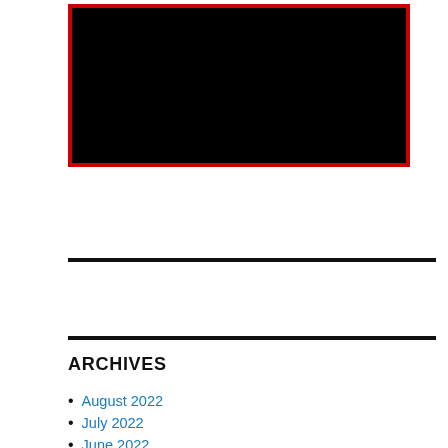[Figure (other): Black rectangle with red border, representing an image placeholder]
ARCHIVES
August 2022
July 2022
June 2022
May 2022
April 2022